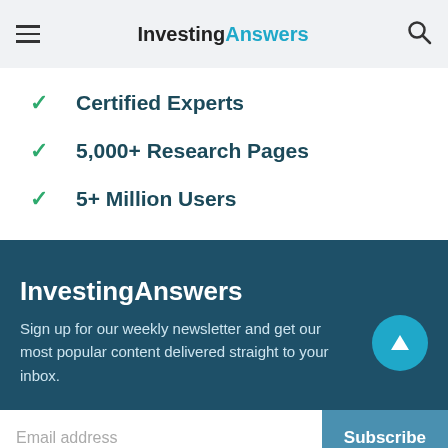InvestingAnswers
Certified Experts
5,000+ Research Pages
5+ Million Users
InvestingAnswers
Sign up for our weekly newsletter and get our most popular content delivered straight to your inbox.
Email address
Subscribe